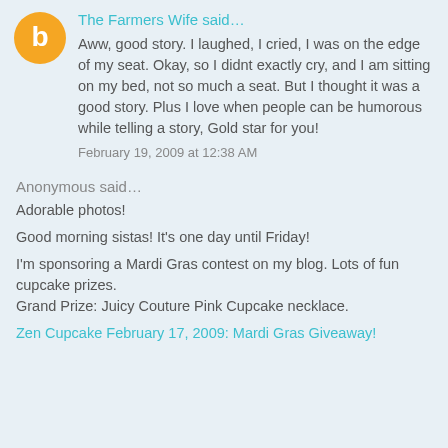The Farmers Wife said…
Aww, good story. I laughed, I cried, I was on the edge of my seat. Okay, so I didnt exactly cry, and I am sitting on my bed, not so much a seat. But I thought it was a good story. Plus I love when people can be humorous while telling a story, Gold star for you!
February 19, 2009 at 12:38 AM
Anonymous said…
Adorable photos!
Good morning sistas! It's one day until Friday!
I'm sponsoring a Mardi Gras contest on my blog. Lots of fun cupcake prizes.
Grand Prize: Juicy Couture Pink Cupcake necklace.
Zen Cupcake February 17, 2009: Mardi Gras Giveaway!